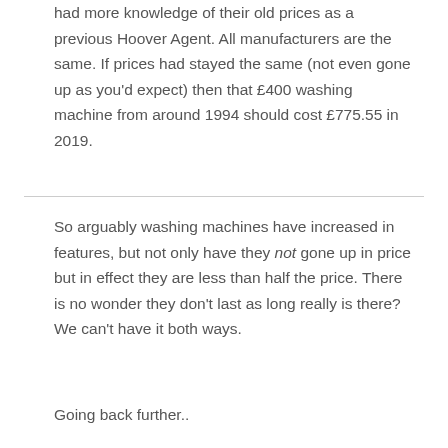had more knowledge of their old prices as a previous Hoover Agent. All manufacturers are the same. If prices had stayed the same (not even gone up as you'd expect) then that £400 washing machine from around 1994 should cost £775.55 in 2019.
So arguably washing machines have increased in features, but not only have they not gone up in price but in effect they are less than half the price. There is no wonder they don't last as long really is there? We can't have it both ways.
Going back further..